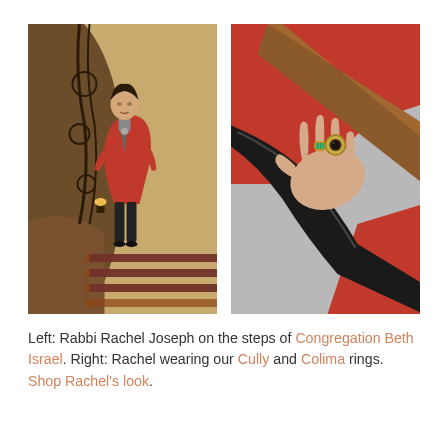[Figure (photo): Left photo: Rabbi Rachel Joseph in a red coat standing on a grand staircase with ornate iron railings and curved banister in a warmly lit interior.]
[Figure (photo): Right photo: Close-up of a hand wearing two rings (a turquoise ring and a round gold/brown stone ring) resting on a wooden stair banister. Person is wearing a red coat.]
Left: Rabbi Rachel Joseph on the steps of Congregation Beth Israel. Right: Rachel wearing our Cully and Colima rings. Shop Rachel's look.